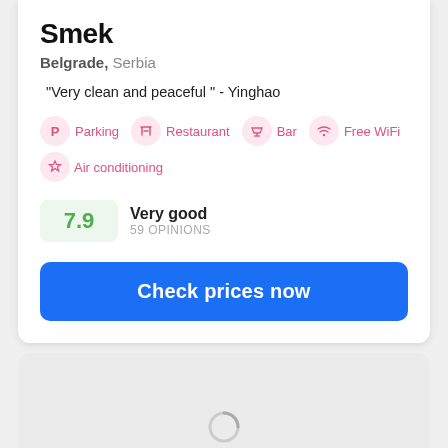Smek
Belgrade, Serbia
"Very clean and peaceful " - Yinghao
Parking  Restaurant  Bar  Free WiFi  Air conditioning
7.9  Very good  59 OPINIONS
Check prices now
[Figure (map): Loading map placeholder with spinner]